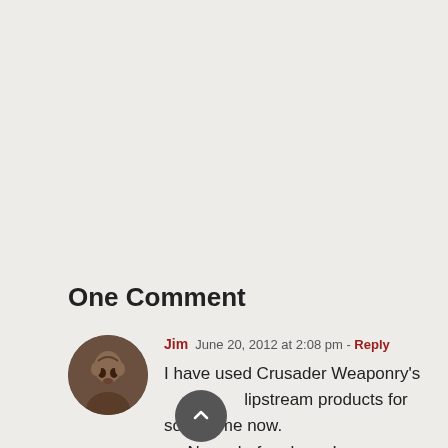One Comment
Jim  June 20, 2012 at 2:08 pm - Reply

I have used Crusader Weaponry's Slipstream products for some time now. Never before have I ran across a lubricant that honestly stands head and